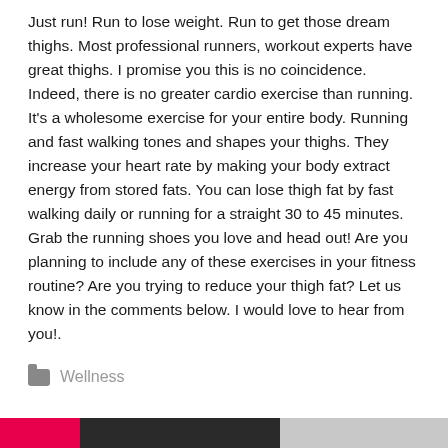Just run! Run to lose weight. Run to get those dream thighs. Most professional runners, workout experts have great thighs. I promise you this is no coincidence. Indeed, there is no greater cardio exercise than running. It's a wholesome exercise for your entire body. Running and fast walking tones and shapes your thighs. They increase your heart rate by making your body extract energy from stored fats. You can lose thigh fat by fast walking daily or running for a straight 30 to 45 minutes. Grab the running shoes you love and head out! Are you planning to include any of these exercises in your fitness routine? Are you trying to reduce your thigh fat? Let us know in the comments below. I would love to hear from you!.
Wellness